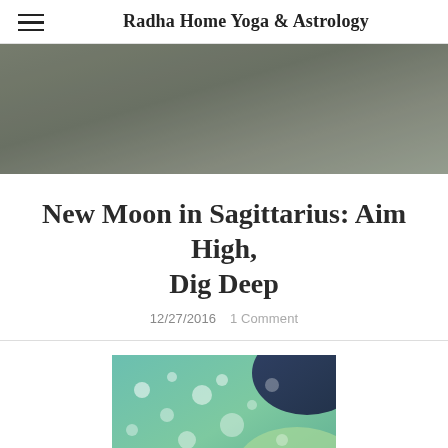Radha Home Yoga & Astrology
[Figure (photo): Hero image with gray-green muted tones, appears to be an outdoor or nature background photo]
New Moon in Sagittarius: Aim High, Dig Deep
12/27/2016  1 Comment
[Figure (photo): Close-up photo of green leaves with water droplets and a pink flower bud, teal and green tones with bokeh light circles]